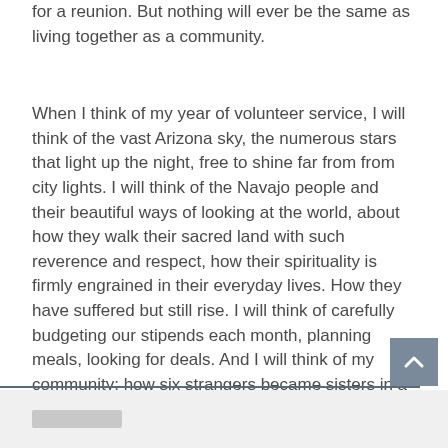for a reunion. But nothing will ever be the same as living together as a community.
When I think of my year of volunteer service, I will think of the vast Arizona sky, the numerous stars that light up the night, free to shine far from from city lights. I will think of the Navajo people and their beautiful ways of looking at the world, about how they walk their sacred land with such reverence and respect, how their spirituality is firmly engrained in their everyday lives. How they have suffered but still rise. I will think of carefully budgeting our stipends each month, planning meals, looking for deals. And I will think of my community: how six strangers became sisters in a matter of months. I am on my way to accepting that, in a few weeks, I will no longer be able to walk up the fifty stairs to our apartment and be greeted with a wave of laughter and warmth, but I know that we will always have Arizona.